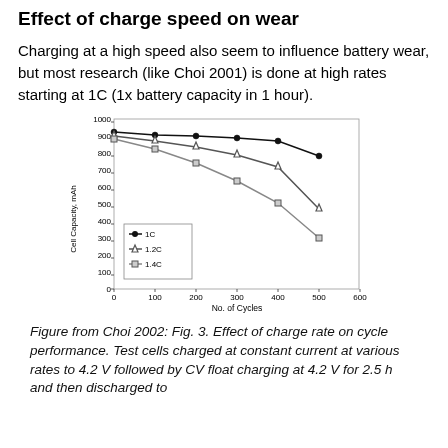Effect of charge speed on wear
Charging at a high speed also seem to influence battery wear, but most research (like Choi 2001) is done at high rates starting at 1C (1x battery capacity in 1 hour).
[Figure (line-chart): ]
Figure from Choi 2002: Fig. 3. Effect of charge rate on cycle performance. Test cells charged at constant current at various rates to 4.2 V followed by CV float charging at 4.2 V for 2.5 h and then discharged to